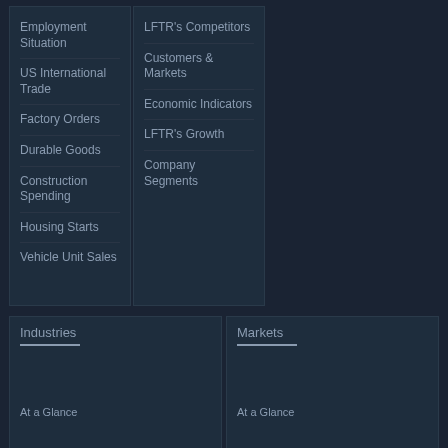Employment Situation
US International Trade
Factory Orders
Durable Goods
Construction Spending
Housing Starts
Vehicle Unit Sales
LFTR's Competitors
Customers & Markets
Economic Indicators
LFTR's Growth
Company Segments
Industries
At a Glance
Markets
At a Glance